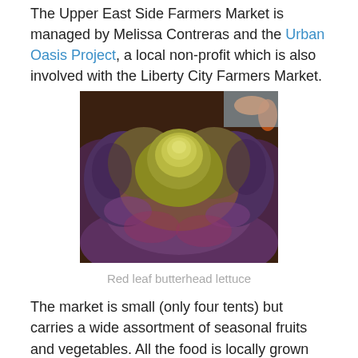The Upper East Side Farmers Market is managed by Melissa Contreras and the Urban Oasis Project, a local non-profit which is also involved with the Liberty City Farmers Market.
[Figure (photo): Close-up photograph of a red leaf butterhead lettuce head on dark soil, with purple-green layered leaves forming a rosette. Orange carrots are partially visible in the upper right corner.]
Red leaf butterhead lettuce
The market is small (only four tents) but carries a wide assortment of seasonal fruits and vegetables. All the food is locally grown (within 150 miles of Miami) from several